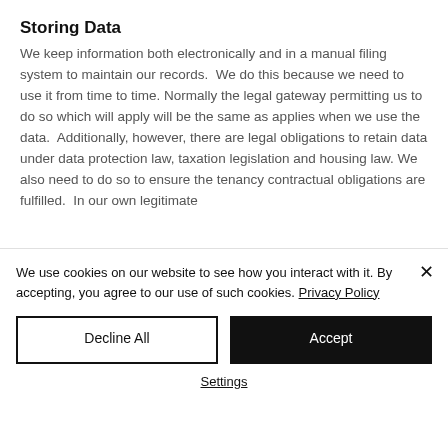Storing Data
We keep information both electronically and in a manual filing system to maintain our records.  We do this because we need to use it from time to time. Normally the legal gateway permitting us to do so which will apply will be the same as applies when we use the data.  Additionally, however, there are legal obligations to retain data under data protection law, taxation legislation and housing law. We also need to do so to ensure the tenancy contractual obligations are fulfilled.  In our own legitimate
We use cookies on our website to see how you interact with it. By accepting, you agree to our use of such cookies. Privacy Policy
Decline All
Accept
Settings